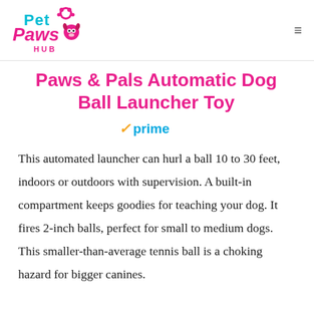Pet Paws Hub
Paws & Pals Automatic Dog Ball Launcher Toy
[Figure (logo): Amazon Prime badge with checkmark and 'prime' text]
This automated launcher can hurl a ball 10 to 30 feet, indoors or outdoors with supervision. A built-in compartment keeps goodies for teaching your dog. It fires 2-inch balls, perfect for small to medium dogs. This smaller-than-average tennis ball is a choking hazard for bigger canines.